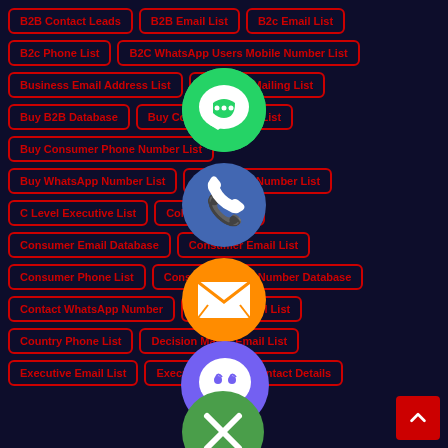B2B Contact Leads
B2B Email List
B2c Email List
B2c Phone List
B2C WhatsApp Users Mobile Number List
Business Email Address List
Business Mailing List
Buy B2B Database
Buy Consumer Email List
Buy Consumer Phone Number List
Buy WhatsApp Number List
Buy Phone Number List
C Level Executive List
Cold Calling List
Consumer Email Database
Consumer Email List
Consumer Phone List
Consumer Phone Number Database
Contact WhatsApp Number
Country Email List
Country Phone List
Decision Maker Email List
Executive Email List
Executive Person Contact Details